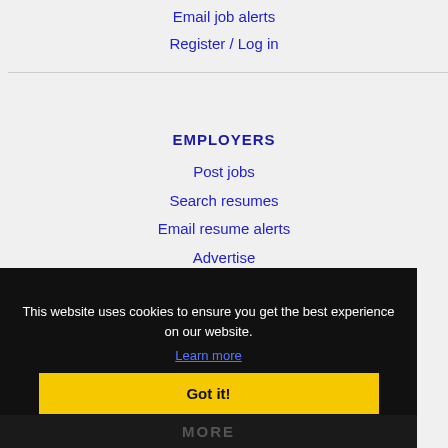Email job alerts
Register / Log in
EMPLOYERS
Post jobs
Search resumes
Email resume alerts
Advertise
This website uses cookies to ensure you get the best experience on our website.
Learn more
Got it!
MORE